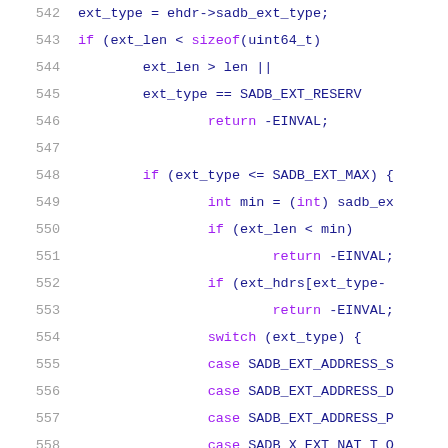[Figure (screenshot): Source code snippet showing C code lines 542-563 with syntax highlighting. Line numbers in gray on the left, keywords in purple, identifiers in dark blue.]